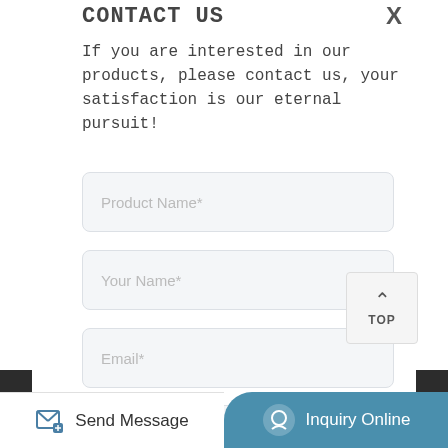CONTACT US
If you are interested in our products, please contact us, your satisfaction is our eternal pursuit!
Product Name*
Your Name*
Email*
Your Phone or Whatsapp
Please fill in here the products you need information*
Send Message
Inquiry Online